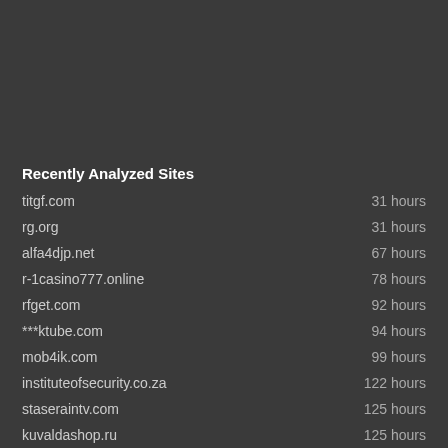Recently Analyzed Sites
titgf.com   31 hours
rg.org   31 hours
alfa4djp.net   67 hours
r-1casino777.online   78 hours
rfget.com   92 hours
***ktube.com   94 hours
mob4ik.com   99 hours
instituteofsecurity.co.za   122 hours
staseraintv.com   125 hours
kuvaldashop.ru   125 hours